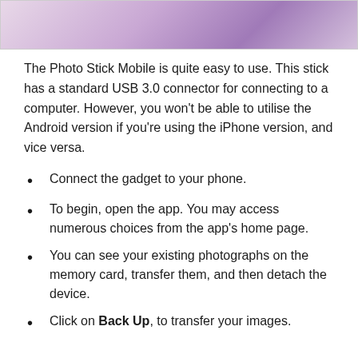[Figure (photo): Cropped top portion of an image with purple/violet and pink blurred tones, likely showing a Photo Stick Mobile device or decorative background.]
The Photo Stick Mobile is quite easy to use. This stick has a standard USB 3.0 connector for connecting to a computer. However, you won't be able to utilise the Android version if you're using the iPhone version, and vice versa.
Connect the gadget to your phone.
To begin, open the app. You may access numerous choices from the app's home page.
You can see your existing photographs on the memory card, transfer them, and then detach the device.
Click on Back Up, to transfer your images.